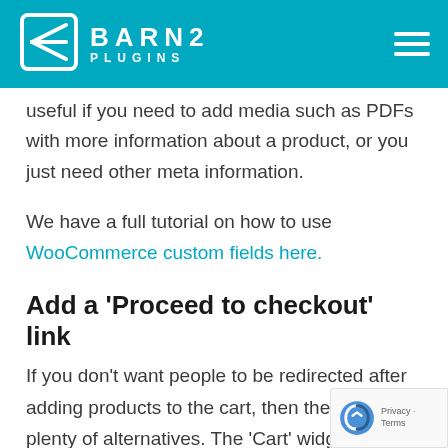BARN2 PLUGINS
useful if you need to add media such as PDFs with more information about a product, or you just need other meta information.
We have a full tutorial on how to use WooCommerce custom fields here.
Add a 'Proceed to checkout' link
If you don't want people to be redirected after adding products to the cart, then there are plenty of alternatives. The 'Cart' widget includes a 'Checkout' button. If you're not using the Ca...